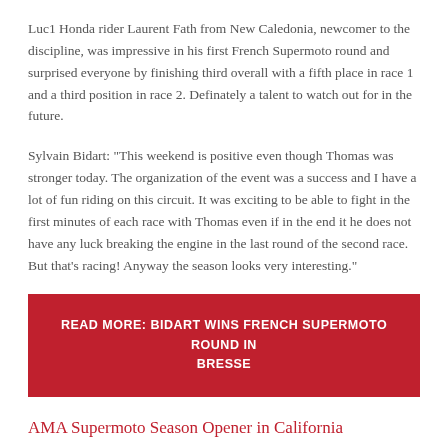Luc1 Honda rider Laurent Fath from New Caledonia, newcomer to the discipline, was impressive in his first French Supermoto round and surprised everyone by finishing third overall with a fifth place in race 1 and a third position in race 2. Definately a talent to watch out for in the future.
Sylvain Bidart: "This weekend is positive even though Thomas was stronger today. The organization of the event was a success and I have a lot of fun riding on this circuit. It was exciting to be able to fight in the first minutes of each race with Thomas even if in the end it he does not have any luck breaking the engine in the last round of the second race. But that's racing! Anyway the season looks very interesting."
READ MORE: BIDART WINS FRENCH SUPERMOTO ROUND IN BRESSE
AMA Supermoto Season Opener in California